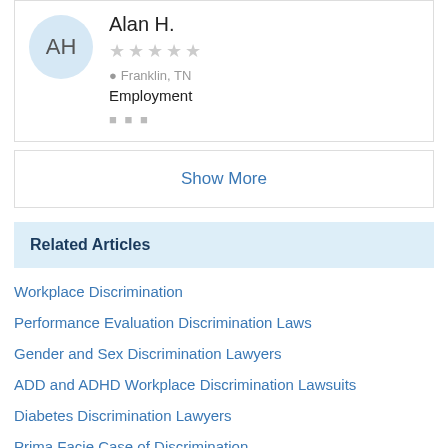[Figure (illustration): Avatar circle with initials AH in light blue]
Alan H.
★★★★★ (empty stars)
Franklin, TN
Employment
...
Show More
Related Articles
Workplace Discrimination
Performance Evaluation Discrimination Laws
Gender and Sex Discrimination Lawyers
ADD and ADHD Workplace Discrimination Lawsuits
Diabetes Discrimination Lawyers
Prima Facie Case of Discrimination